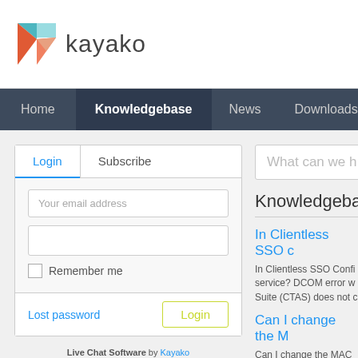[Figure (logo): Kayako logo with colorful K icon and 'kayako' wordmark]
Home | Knowledgebase | News | Downloads | Trouble
What can we h
Knowledgebase
Login | Subscribe
Your email address
Remember me
Lost password | Login
In Clientless SSO C
In Clientless SSO Config service? DCOM error w Suite (CTAS) does not c
Can I change the M
Can I change the MAC a MAC add...
Live Chat Software by Kayako